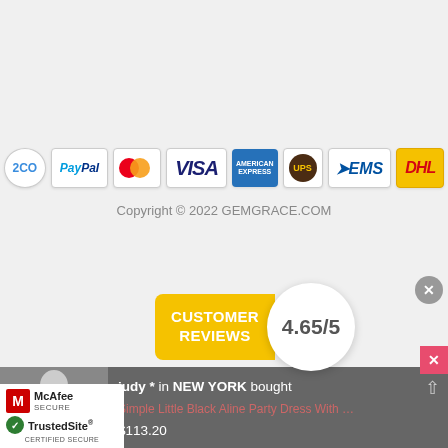[Figure (logo): Payment method icons: 2CO, PayPal, MasterCard, VISA, American Express, UPS, EMS, DHL]
Copyright © 2022 GEMGRACE.COM
[Figure (infographic): Customer Reviews badge showing rating 4.65/5]
[Figure (other): Close button (X circle) top right]
[Figure (other): Close button (X pink square) right]
[Figure (photo): Person wearing black dress]
judy * in NEW YORK bought
Simple Little Black Aline Party Dress With Straps (a...
$113.20
About 6 hours ago
[Figure (logo): McAfee SECURE badge]
[Figure (logo): TrustedSite CERTIFIED SECURE badge]